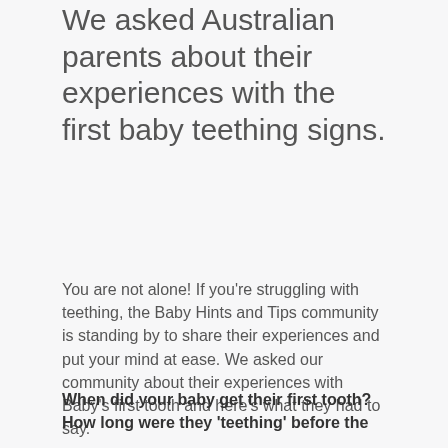We asked Australian parents about their experiences with the first baby teething signs.
You are not alone! If you're struggling with teething, the Baby Hints and Tips community is standing by to share their experiences and put your mind at ease. We asked our community about their experiences with Baby's first tooth and here's what they had to say.
When did your baby get their first tooth? How long were they 'teething' before the tooth came through? What symptoms did